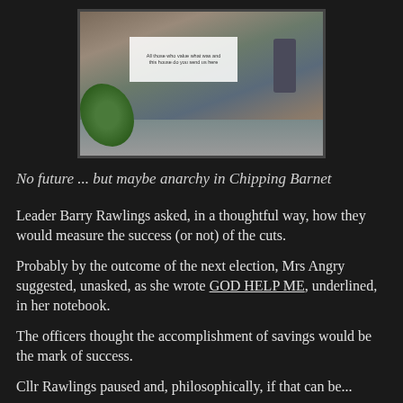[Figure (photo): Indoor photo showing a large sign or poster on a glass surface in what appears to be a public building lobby, with a plant on the left and a person with a pushchair on the right, grey floor visible.]
No future ... but maybe anarchy in Chipping Barnet
Leader Barry Rawlings asked, in a thoughtful way, how they would measure the success (or not) of the cuts.
Probably by the outcome of the next election, Mrs Angry suggested, unasked, as she wrote GOD HELP ME, underlined, in her notebook.
The officers thought the accomplishment of savings would be the mark of success.
Cllr Rawlings paused and, philosophically, if that can be...